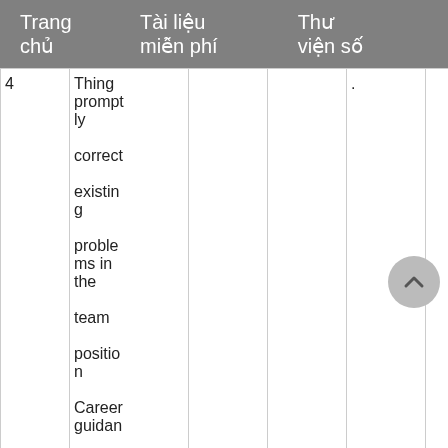Trang chủ    Tài liệu miễn phí    Thư viện số
| 4 | Thing promptly correctly existing problems in the team position Career guidan |  |  |  | . |